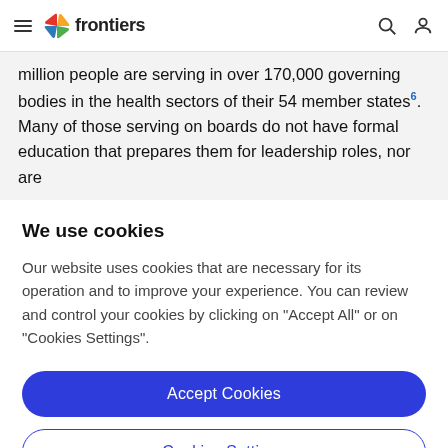frontiers
million people are serving in over 170,000 governing bodies in the health sectors of their 54 member states⁶. Many of those serving on boards do not have formal education that prepares them for leadership roles, nor are
We use cookies
Our website uses cookies that are necessary for its operation and to improve your experience. You can review and control your cookies by clicking on "Accept All" or on "Cookies Settings".
Accept Cookies
Cookies Settings